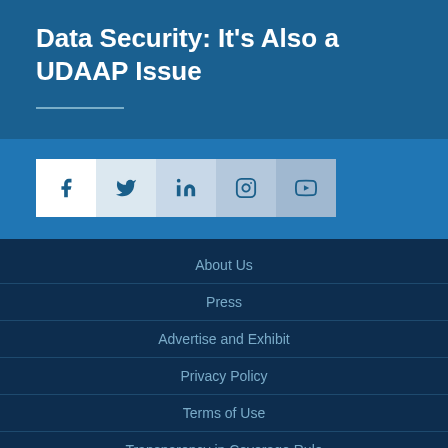Data Security: It’s Also a UDAAP Issue
[Figure (infographic): Social media icon bar with Facebook, Twitter, LinkedIn, Instagram, and YouTube icons in progressively darker blue panels]
About Us
Press
Advertise and Exhibit
Privacy Policy
Terms of Use
Transparency in Coverage Rule